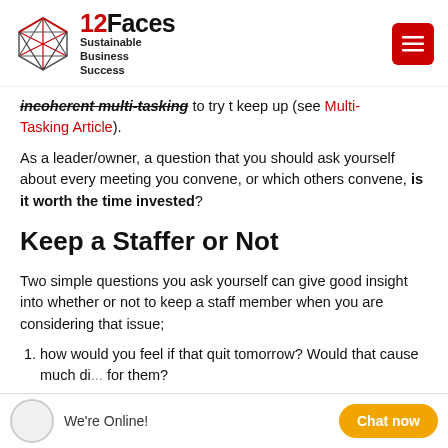12Faces Sustainable Business Success
incoherent multi-tasking to try t keep up (see Multi Tasking Article).
As a leader/owner, a question that you should ask yourself about every meeting you convene, or which others convene, is it worth the time invested?
Keep a Staffer or Not
Two simple questions you ask yourself can give good insight into whether or not to keep a staff member when you are considering that issue;
how would you feel if that quit tomorrow? Would that cause much di... for them?